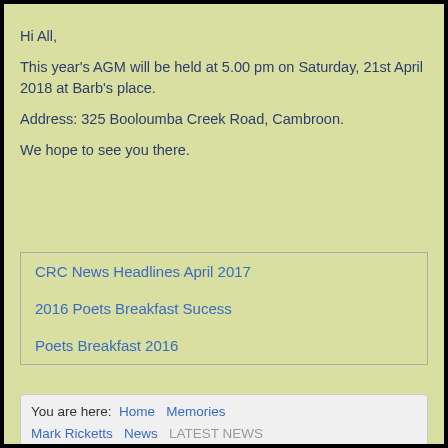Hi All,
This year's AGM will be held at 5.00 pm on Saturday, 21st April 2018 at Barb's place.
Address: 325 Booloumba Creek Road, Cambroon.
We hope to see you there.
CRC News Headlines April 2017
2016 Poets Breakfast Sucess
Poets Breakfast 2016
You are here: Home Memories Mark Ricketts News LATEST NEWS